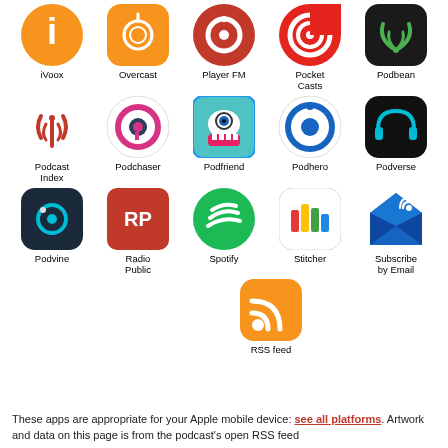[Figure (illustration): Grid of podcast app icons with labels: Row 1: iVoox, Overcast, Player FM, Pocket Casts, Podbean. Row 2: Podcast Index, Podchaser, Podfriend, Podhero, Podverse. Row 3: Podvine, Radio Public, Spotify, Stitcher, Subscribe by Email. Row 4 (centered): RSS feed.]
These apps are appropriate for your Apple mobile device: see all platforms. Artwork and data on this page is from the podcast's open RSS feed (Markup: listen.app).